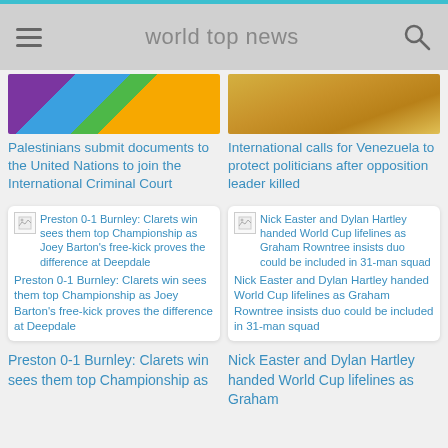world top news
[Figure (photo): Colorful flag-like image with purple, blue, green, and orange sections]
Palestinians submit documents to the United Nations to join the International Criminal Court
[Figure (photo): Golden wheat or grain field close-up]
International calls for Venezuela to protect politicians after opposition leader killed
[Figure (screenshot): Card with broken image icon and article text: Preston 0-1 Burnley: Clarets win sees them top Championship as Joey Barton's free-kick proves the difference at Deepdale]
[Figure (screenshot): Card with broken image icon and article text: Nick Easter and Dylan Hartley handed World Cup lifelines as Graham Rowntree insists duo could be included in 31-man squad]
Preston 0-1 Burnley: Clarets win sees them top Championship as
Nick Easter and Dylan Hartley handed World Cup lifelines as Graham